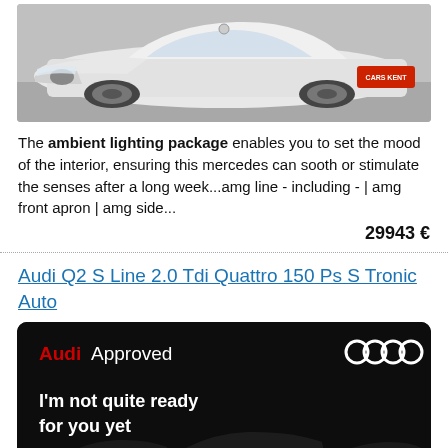[Figure (photo): White Mercedes-Benz car photographed from front-left angle in a studio/showroom setting. A red dealer plate reading 'CARS KENT' is visible on the front.]
The ambient lighting package enables you to set the mood of the interior, ensuring this mercedes can sooth or stimulate the senses after a long week...amg line - including - | amg front apron | amg side...
29943 €
Audi Q2 S Line 2.0 Tdi Quattro 150 Ps S Tronic Auto
[Figure (photo): Audi Approved promotional image on black background. Red 'Audi' text and white 'Approved' text top left, Audi four-ring logo top right. White bold text reads 'I'm not quite ready for you yet'. Three dark Audi SUVs shown from rear with red tail lights glowing at the bottom.]